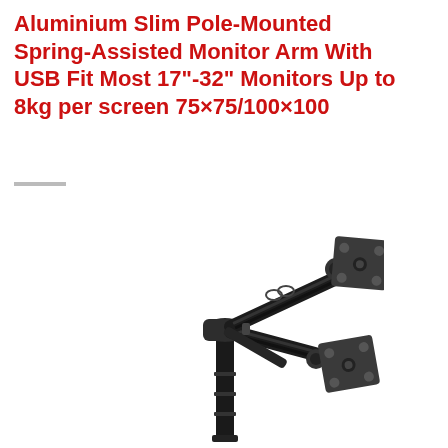Aluminium Slim Pole-Mounted Spring-Assisted Monitor Arm With USB Fit Most 17"-32" Monitors Up to 8kg per screen 75×75/100×100
[Figure (photo): Product photo of a dual monitor arm mount — black aluminium pole-mounted spring-assisted arm with two VESA mounting plates, shown without monitors attached]